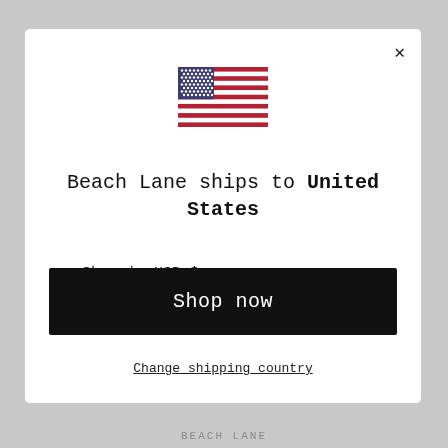[Figure (illustration): US flag emoji/illustration centered at top of modal]
Beach Lane ships to United States
Shop in USD $
Get shipping options for United States
Shop now
Change shipping country
BEACH LANE